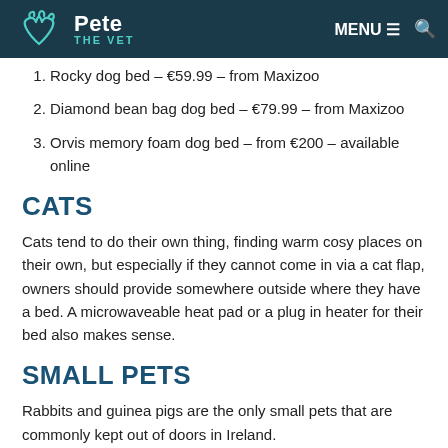Pete The Vet — MENU ≡ 🔍
Rocky dog bed – €59.99 – from Maxizoo
Diamond bean bag dog bed – €79.99 – from Maxizoo
Orvis memory foam dog bed – from €200 – available online
CATS
Cats tend to do their own thing, finding warm cosy places on their own, but especially if they cannot come in via a cat flap, owners should provide somewhere outside where they have a bed. A microwaveable heat pad or a plug in heater for their bed also makes sense.
SMALL PETS
Rabbits and guinea pigs are the only small pets that are commonly kept out of doors in Ireland.
In most cases, it's possible to adequately protect pets from the cold by adapting the hutch and pen rather than bringing the pet